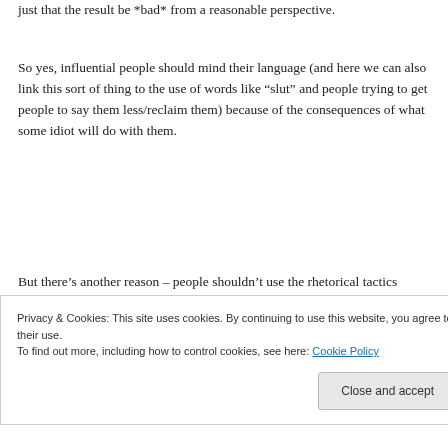just that the result be *bad* from a reasonable perspective.
So yes, influential people should mind their language (and here we can also link this sort of thing to the use of words like “slut” and people trying to get people to say them less/reclaim them) because of the consequences of what some idiot will do with them.
But there’s another reason – people shouldn’t use the rhetorical tactics mentioned above
out reams of crap with no basis in reality. It’s
Privacy & Cookies: This site uses cookies. By continuing to use this website, you agree to their use. To find out more, including how to control cookies, see here: Cookie Policy